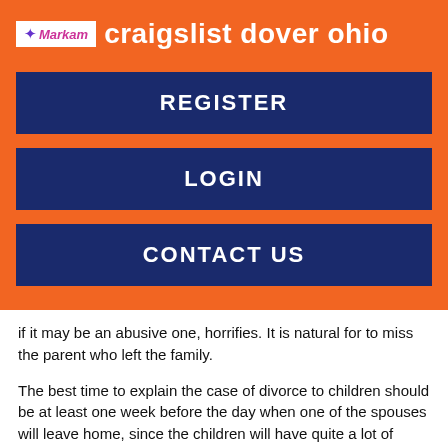craigslist dover ohio
REGISTER
LOGIN
CONTACT US
if it may be an abusive one, horrifies. It is natural for to miss the parent who left the family.
The best time to explain the case of divorce to children should be at least one week before the day when one of the spouses will leave home, since the children will have quite a lot of questions and worries preoccupying their mind once they have got the news [ 1 ].
Witnessing the loss of love between parents, the abandonment